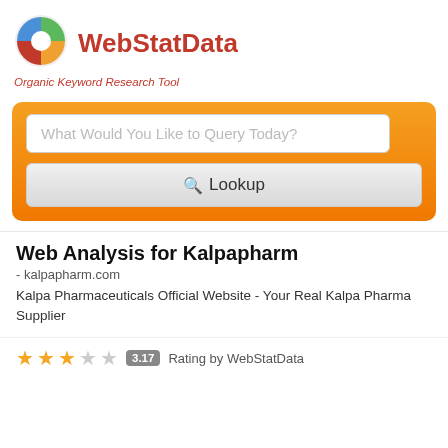[Figure (logo): WebStatData pie-chart logo with blue, green, orange, red segments]
WebStatData
Organic Keyword Research Tool
[Figure (screenshot): Orange search box panel with placeholder text 'What Would You Like to Query Today?' and a Lookup button]
Web Analysis for Kalpapharm
- kalpapharm.com
Kalpa Pharmaceuticals Official Website - Your Real Kalpa Pharma Supplier
3.17 Rating by WebStatData